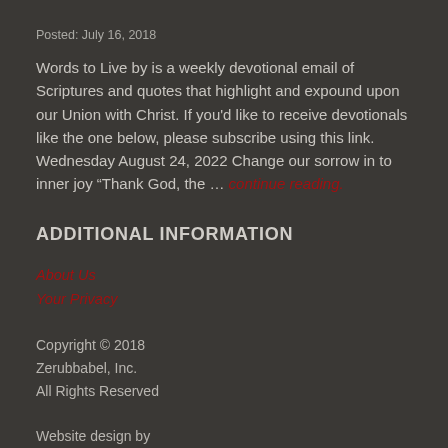Posted: July 16, 2018
Words to Live by is a weekly devotional email of Scriptures and quotes that highlight and expound upon our Union with Christ. If you'd like to receive devotionals like the one below, please subscribe using this link. Wednesday August 24, 2022 Change our sorrow in to inner joy "Thank God, the … continue reading.
ADDITIONAL INFORMATION
About Us
Your Privacy
Copyright © 2018
Zerubbabel, Inc.
All Rights Reserved
Website design by
Horizon Mediaworks LLC